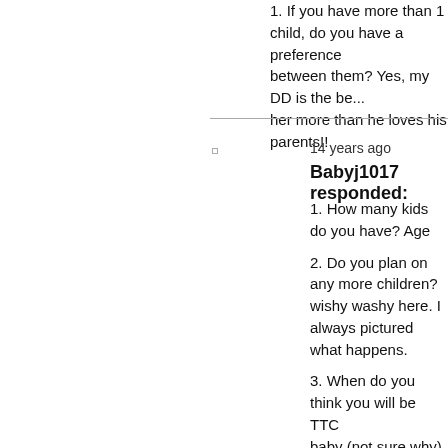1. If you have more than 1 child, do you have a preference between them? Yes, my DD is the be... her more than he loves his parents!!
14 years ago
Babyj1017 responded:
1. How many kids do you have? Age
2. Do you plan on any more children? wishy washy here. I always pictured what happens.
3. When do you think you will be TTC baby (not sure why), so if we decide March/April, but which year we TTC mom has watched both of my kids, b can watch another (don't blame her) infant in daycare. Our plan is for me when Emily goes to kindergarten. If t
4. If you have more than 1 child, do y between them? I absolutely love the prefer to have the next one when Gra again, that will depend on my work s